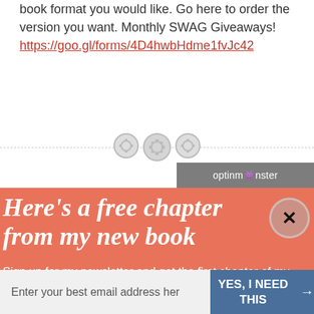book format you would like. Go here to order the version you want. Monthly SWAG Giveaways!  https://goo.gl/forms/4D4hwbHdme1fvJc42
[Figure (other): Decorative horizontal dashed divider with three circular button-style icons in the center]
[Figure (screenshot): OptinMonster branded popup overlay on salmon/coral background. Contains italic bold title 'Here's a free chapter from my new book', a close button (X), and subtext 'Sign up for my newsletter and get the first chapter of my new book for free.']
Here's a free chapter from my new book
Sign up for my newsletter and get the first chapter of my new book for free.
Enter your best email address her
YES, I NEED THIS →